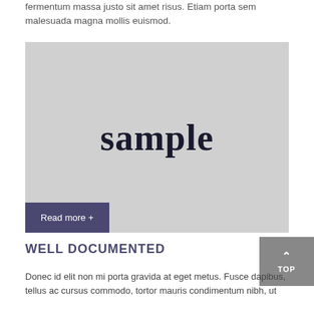fermentum massa justo sit amet risus. Etiam porta sem malesuada magna mollis euismod.
[Figure (illustration): Gray placeholder image box with the word 'sample' written in large bold serif font in the center, and a 'Read more +' button in dark purple at the bottom-left corner.]
WELL DOCUMENTED
Donec id elit non mi porta gravida at eget metus. Fusce dapibus, tellus ac cursus commodo, tortor mauris condimentum nibh, ut